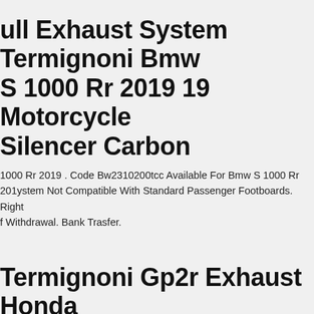ull Exhaust System Termignoni Bmw S 1000 Rr 2019 19 Motorcycle Silencer Carbon
1000 Rr 2019 . Code Bw2310200tcc Available For Bmw S 1000 Rr 201... ystem Not Compatible With Standard Passenger Footboards. Right... f Withdrawal. Bank Trasfer.
Termignoni Gp2r Exhaust Honda Cb1000r Neo Sports Cafe 2018-2022
rmignoni Gp2r Exhaust Honda Cb1000r (neo Sports Cafe) 2018-202... gp2r Style Exhaust ---slip On Silencer ---dedicated Link Pipe To Connect To Stock Collectors ---stainless Steel Sleeve ---stainless Steel... d Cap ---removable Db Killer ---homologated - No.